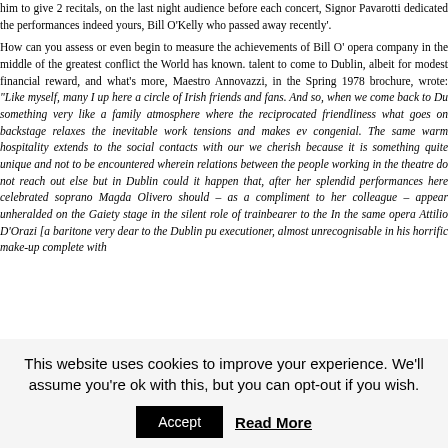... him to give 2 recitals, on the last night audience before each concert, Signor Pavarotti dedicated the performances indeed yours, Bill O'Kelly who passed away recently'.
How can you assess or even begin to measure the achievements of Bill O' opera company in the middle of the greatest conflict the World has known. talent to come to Dublin, albeit for modest financial reward, and what's more, Maestro Annovazzi, in the Spring 1978 brochure, wrote: "Like myself, many I up here a circle of Irish friends and fans. And so, when we come back to Du something very like a family atmosphere where the reciprocated friendliness what goes on backstage relaxes the inevitable work tensions and makes ev congenial. The same warm hospitality extends to the social contacts with our we cherish because it is something quite unique and not to be encountered wherein relations between the people working in the theatre do not reach out else but in Dublin could it happen that, after her splendid performances here celebrated soprano Magda Olivero should – as a compliment to her colleague – appear unheralded on the Gaiety stage in the silent role of trainbearer to the In the same opera Attilio D'Orazi [a baritone very dear to the Dublin pu executioner, almost unrecognisable in his horrific make-up complete with
This website uses cookies to improve your experience. We'll assume you're ok with this, but you can opt-out if you wish.
Accept
Read More